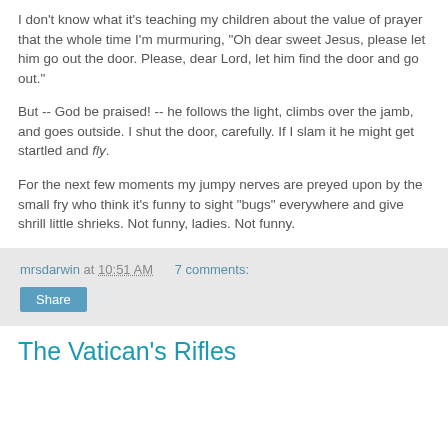I don't know what it's teaching my children about the value of prayer that the whole time I'm murmuring, "Oh dear sweet Jesus, please let him go out the door. Please, dear Lord, let him find the door and go out."
But -- God be praised! -- he follows the light, climbs over the jamb, and goes outside. I shut the door, carefully. If I slam it he might get startled and fly.
For the next few moments my jumpy nerves are preyed upon by the small fry who think it's funny to sight "bugs" everywhere and give shrill little shrieks. Not funny, ladies. Not funny.
mrsdarwin at 10:51 AM   7 comments:
The Vatican's Rifles